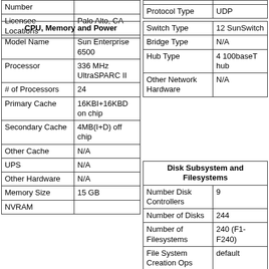| Number |  |
| --- | --- |
| Licensee Locations | Palo Alto, CA |
|  |  |
| Protocol Type | UDP |
| CPU, Memory and Power |
| --- |
| Model Name | Sun Enterprise 6500 |
| Processor | 336 MHz UltraSPARC II |
| # of Processors | 24 |
| Primary Cache | 16KBI+16KBD on chip |
| Secondary Cache | 4MB(I+D) off chip |
| Other Cache | N/A |
| UPS | N/A |
| Other Hardware | N/A |
| Memory Size | 15 GB |
| NVRAM |  |
| Switch Type | 12 SunSwitch |
| Bridge Type | N/A |
| Hub Type | 4 100baseT hub |
| Other Network Hardware | N/A |
| Disk Subsystem and Filesystems |
| --- |
| Number Disk Controllers | 9 |
| Number of Disks | 244 |
| Number of Filesystems | 240 (F1-F240) |
| File System Creation Ops | default |
| File System Config | default |